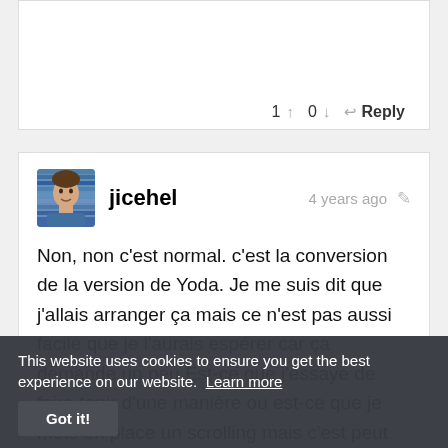1 ↑   0 ↓   ↩ Reply
jicehel   4 years ago
Non, non c'est normal. c'est la conversion de la version de Yoda. Je me suis dit que j'allais arranger ça mais ce n'est pas aussi facile que je l'aurais espérer car ça demande un peu Est-ce que j'essaye de faire tenir d'une manière ou est-ce que je mets en place un scrolling mais c'est peut intéressant vu le peut de
This website uses cookies to ensure you get the best experience on our website. Learn more   Got it!